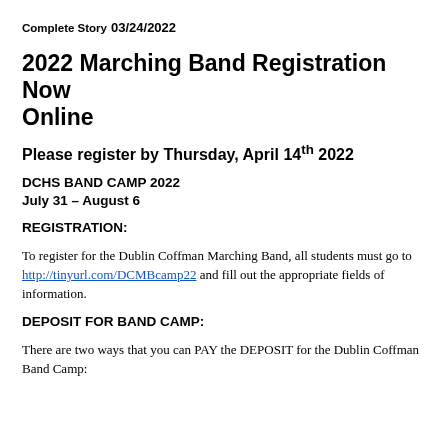Complete Story
03/24/2022
2022 Marching Band Registration Now Online
Please register by Thursday, April 14th 2022
DCHS BAND CAMP 2022
July 31 – August 6
REGISTRATION:
To register for the Dublin Coffman Marching Band, all students must go to http://tinyurl.com/DCMBcamp22 and fill out the appropriate fields of information.
DEPOSIT FOR BAND CAMP:
There are two ways that you can PAY the DEPOSIT for the Dublin Coffman Band Camp: